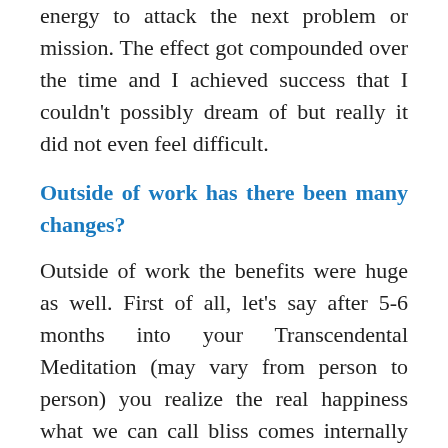energy to attack the next problem or mission. The effect got compounded over the time and I achieved success that I couldn't possibly dream of but really it did not even feel difficult.
Outside of work has there been many changes?
Outside of work the benefits were huge as well. First of all, let's say after 5-6 months into your Transcendental Meditation (may vary from person to person) you realize the real happiness what we can call bliss comes internally from the mind and I cannot think of anything else that